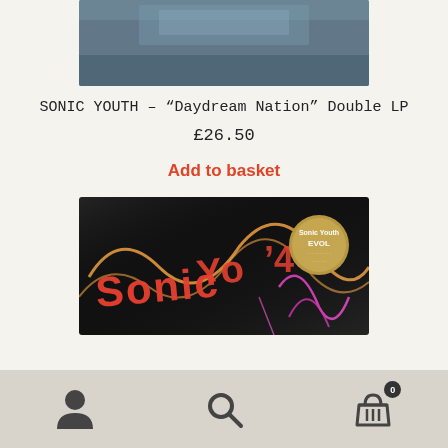[Figure (photo): Partial product photo of a vinyl record sleeve, partially cropped at top, showing blue-grey toned image]
SONIC YOUTH – “Daydream Nation” Double LP
£26.50
Add to basket
[Figure (photo): Photo of Sonic Youth EVOL album cover with red graffiti-style lettering on black background with orange and pink paint strokes, and a round label sticker in the upper right]
Navigation bar with user account icon, search icon, and shopping basket icon with 0 badge